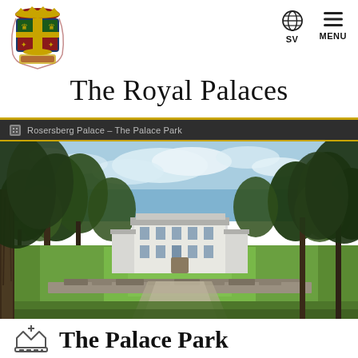[Figure (logo): Swedish Royal coat of arms logo — crowned shield with heraldic details in gold and red]
SV  MENU
The Royal Palaces
Rosersberg Palace – The Palace Park
[Figure (photo): Rosersberg Palace seen from across a green lawn, framed by tall trees on both sides, with a stone wall in the foreground and blue sky above]
The Palace Park